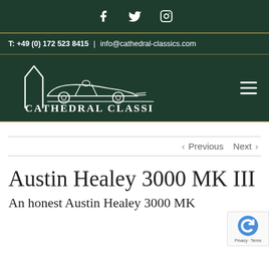Social media icons: Facebook, Twitter, Instagram
T: +49 (0) 172 523 8415 | info@cathedral-classics.com
[Figure (logo): Cathedral Classics logo with white line art of a classic racing car and stylized arch/spire, with text CATHEDRAL CLASSICS below]
< Previous   Next >
Austin Healey 3000 MK III
An honest Austin Healey 3000 MK